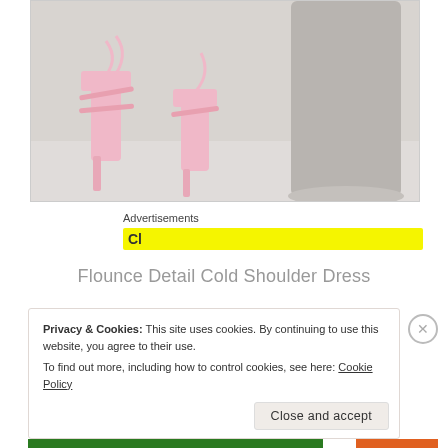[Figure (photo): Photo of pink strappy heeled sandals on a woman's feet, near a concrete cylindrical pillar on a light grey floor]
Advertisements
[Figure (screenshot): Yellow advertisement bar partially visible]
Flounce Detail Cold Shoulder Dress
Privacy & Cookies: This site uses cookies. By continuing to use this website, you agree to their use.
To find out more, including how to control cookies, see here: Cookie Policy
Close and accept